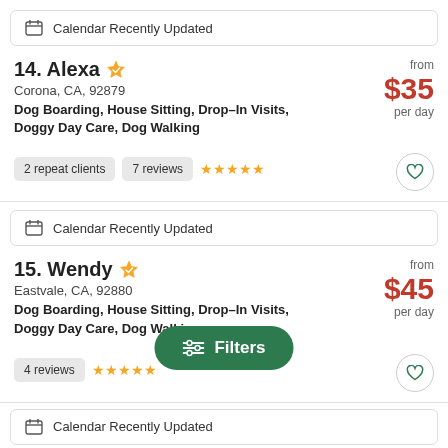Calendar Recently Updated
14. Alexa
Corona, CA, 92879
Dog Boarding, House Sitting, Drop-In Visits, Doggy Day Care, Dog Walking
2 repeat clients  7 reviews  ★★★★★
from $35 per day
Calendar Recently Updated
15. Wendy
Eastvale, CA, 92880
Dog Boarding, House Sitting, Drop-In Visits, Doggy Day Care, Dog Walking
4 reviews  ★★★★★
from $45 per day
Filters
Calendar Recently Updated